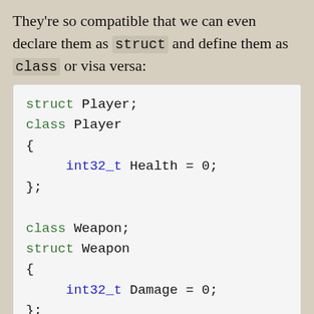They're so compatible that we can even declare them as struct and define them as class or visa versa:
[Figure (screenshot): Code block showing C++ struct and class forward declarations and definitions: struct Player; class Player { int32_t Health = 0; }; class Weapon; struct Weapon { int32_t Damage = 0; };]
The choice of which to use is mostly up to convention. The struct keyword is typically used when all or the majority of members will be public. The class keyword is typically used when all or the majority of